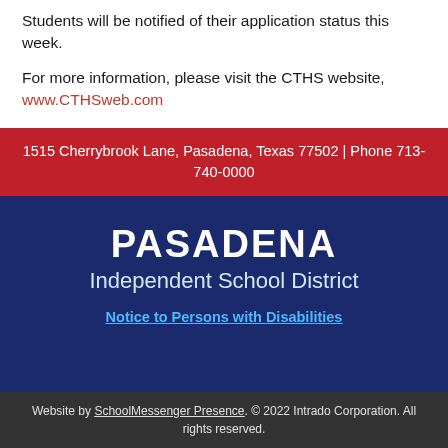Students will be notified of their application status this week.
For more information, please visit the CTHS website, www.CTHSweb.com
1515 Cherrybrook Lane, Pasadena, Texas 77502 | Phone 713-740-0000
PASADENA
Independent School District
Notice to Persons with Disabilities
Website by SchoolMessenger Presence. © 2022 Intrado Corporation. All rights reserved.